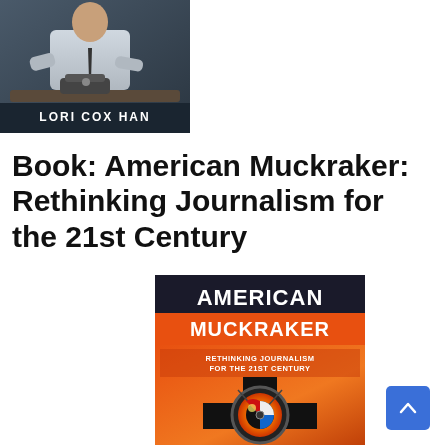[Figure (photo): Black and white photo of a person (Lori Cox Han) working at a desk with a typewriter or camera equipment, wearing a white shirt and tie. Text 'LORI COX HAN' appears at the bottom of the image.]
Book: American Muckraker: Rethinking Journalism for the 21st Century
[Figure (photo): Book cover for 'American Muckraker: Rethinking Journalism for the 21st Century'. The cover shows bold text 'AMERICAN MUCKRAKER' on a dark background, and below it an orange/red background with text 'RETHINKING JOURNALISM FOR THE 21ST CENTURY' and a camera lens cross symbol.]